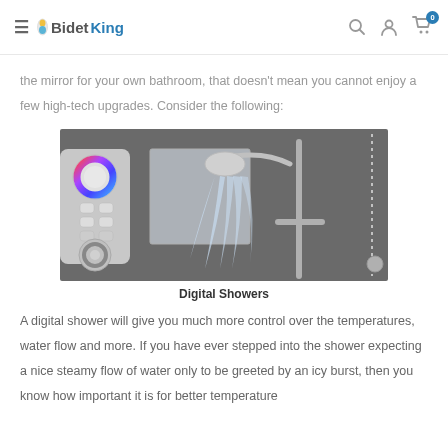BidetKing
the mirror for your own bathroom, that doesn't mean you cannot enjoy a few high-tech upgrades. Consider the following:
[Figure (photo): A digital shower control panel on the left with colorful circular dials and buttons, and a shower head spraying water on a chrome rail bar on the right, against a dark tiled wall with a mirror in the background.]
Digital Showers
A digital shower will give you much more control over the temperatures, water flow and more. If you have ever stepped into the shower expecting a nice steamy flow of water only to be greeted by an icy burst, then you know how important it is for better temperature